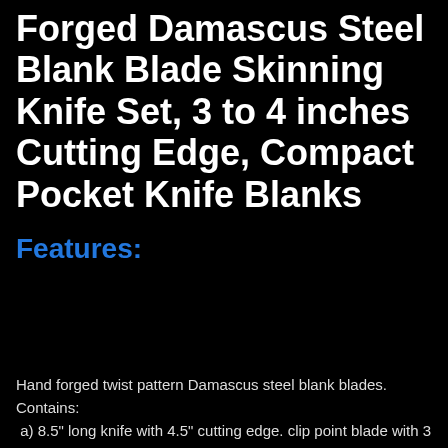Forged Damascus Steel Blank Blade Skinning Knife Set, 3 to 4 inches Cutting Edge, Compact Pocket Knife Blanks
Features:
Hand forged twist pattern Damascus steel blank blades. Contains:
  a) 8.5" long knife with 4.5" cutting edge. clip point blade with 3 pins and a Mossaic hole.
  b) 8.5" long skinning knife with 4" cutting edge. 6 pin